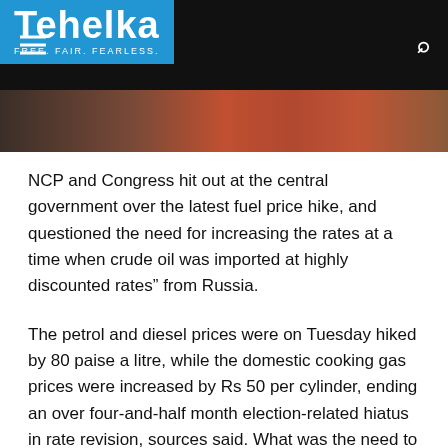Tehelka — FREE. FAIR. FEARLESS.
[Figure (photo): Partial photograph showing blurred canisters or fuel containers in red and dark tones]
NCP and Congress hit out at the central government over the latest fuel price hike, and questioned the need for increasing the rates at a time when crude oil was imported at highly discounted rates" from Russia.
The petrol and diesel prices were on Tuesday hiked by 80 paise a litre, while the domestic cooking gas prices were increased by Rs 50 per cylinder, ending an over four-and-half month election-related hiatus in rate revision, sources said. What was the need to increase the price of cooking gas when you (the Centre) have already imported lakhs of barrels of crude oil at highly discounted rates from Russia, NCP's Maharashtra unit chief spokesperson Mahesh Tapase asked.